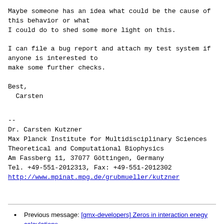Maybe someone has an idea what could be the cause of
this behavior or what
I could do to shed some more light on this.

I can file a bug report and attach my test system if
anyone is interested to
make some further checks.

Best,
  Carsten
--
Dr. Carsten Kutzner
Max Planck Institute for Multidisciplinary Sciences
Theoretical and Computational Biophysics
Am Fassberg 11, 37077 Göttingen, Germany
Tel. +49-551-2012313, Fax: +49-551-2012302
http://www.mpinat.mpg.de/grubmueller/kutzner
Previous message: [gmx-developers] Zeros in interaction enegy calculations
Next message: [gmx-developers] How to avoid the